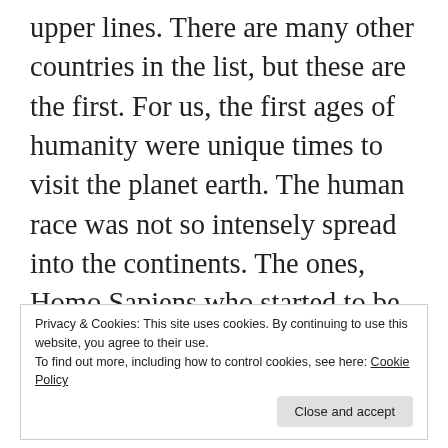upper lines. There are many other countries in the list, but these are the first. For us, the first ages of humanity were unique times to visit the planet earth. The human race was not so intensely spread into the continents. The ones, Homo Sapiens who started to be exist, were engaged in the slaughter to the Neanderthals and wiping them off the planet. Already in the rest of their times they were living in the caves by painting and they were trying to make human babies. So it was the best time for us.
Privacy & Cookies: This site uses cookies. By continuing to use this website, you agree to their use.
To find out more, including how to control cookies, see here: Cookie Policy